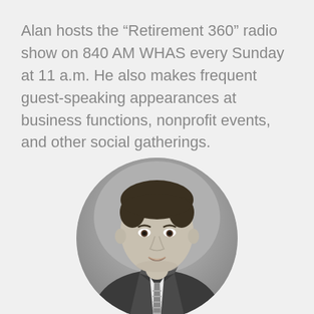Alan hosts the “Retirement 360” radio show on 840 AM WHAS every Sunday at 11 a.m. He also makes frequent guest-speaking appearances at business functions, nonprofit events, and other social gatherings.
[Figure (photo): Black and white circular headshot photo of a man in a suit and striped tie, smiling slightly, professional business portrait.]